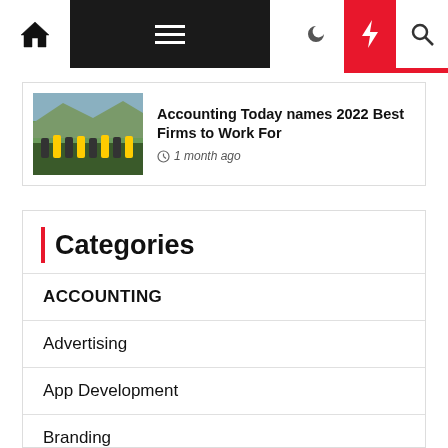Navigation bar with home, menu, moon, flash, and search icons
Accounting Today names 2022 Best Firms to Work For
1 month ago
Categories
ACCOUNTING
Advertising
App Development
Branding
BUSINESS